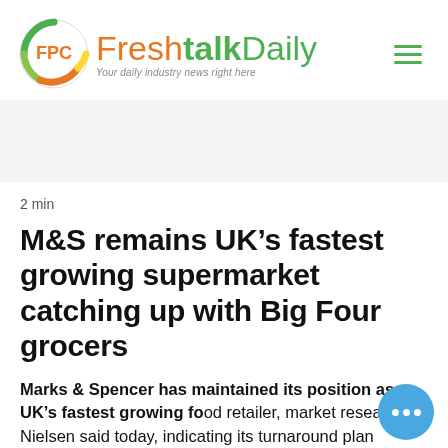FPC FreshTalkDaily — Your daily industry news right here
2 min
M&S remains UK's fastest growing supermarket catching up with Big Four grocers
Marks & Spencer has maintained its position as UK's fastest growing food retailer, market researcher Nielsen said today, indicating its turnaround plan